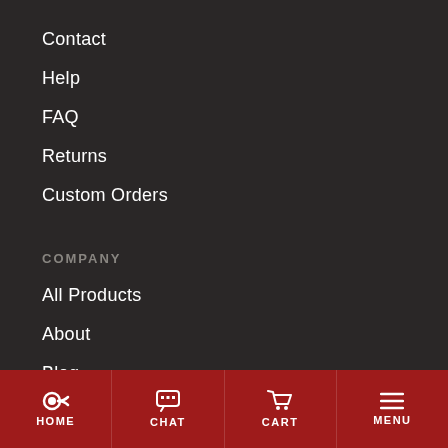Contact
Help
FAQ
Returns
Custom Orders
COMPANY
All Products
About
Blog
Magnetic Calculators
Catalog
HOME  CHAT  CART  MENU